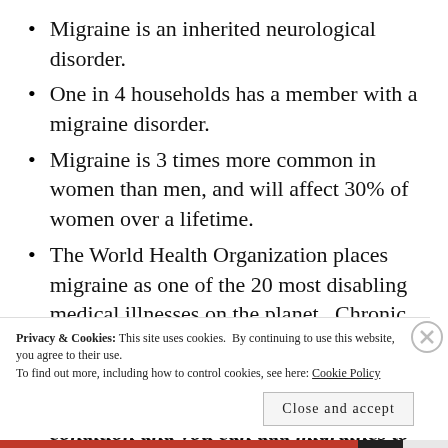Migraine is an inherited neurological disorder.
One in 4 households has a member with a migraine disorder.
Migraine is 3 times more common in women than men, and will affect 30% of women over a lifetime.
The World Health Organization places migraine as one of the 20 most disabling medical illnesses on the planet. Chronic migraines are even more disabling. Yet it is almost impossible to get disability due to migraines. If you have another condition and you can add migraines to it, they
Privacy & Cookies: This site uses cookies. By continuing to use this website, you agree to their use.
To find out more, including how to control cookies, see here: Cookie Policy
Close and accept